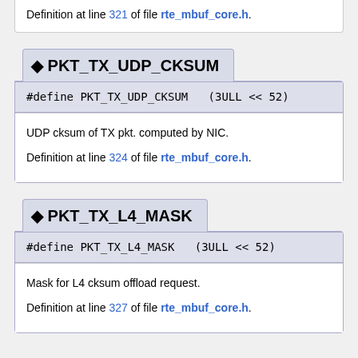Definition at line 321 of file rte_mbuf_core.h.
◆ PKT_TX_UDP_CKSUM
#define PKT_TX_UDP_CKSUM   (3ULL << 52)
UDP cksum of TX pkt. computed by NIC.
Definition at line 324 of file rte_mbuf_core.h.
◆ PKT_TX_L4_MASK
#define PKT_TX_L4_MASK   (3ULL << 52)
Mask for L4 cksum offload request.
Definition at line 327 of file rte_mbuf_core.h.